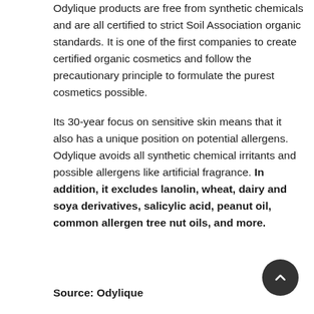Odylique products are free from synthetic chemicals and are all certified to strict Soil Association organic standards. It is one of the first companies to create certified organic cosmetics and follow the precautionary principle to formulate the purest cosmetics possible.

Its 30-year focus on sensitive skin means that it also has a unique position on potential allergens. Odylique avoids all synthetic chemical irritants and possible allergens like artificial fragrance. In addition, it excludes lanolin, wheat, dairy and soya derivatives, salicylic acid, peanut oil, common allergen tree nut oils, and more.
Source: Odylique